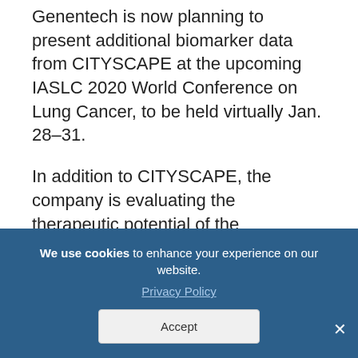Genentech is now planning to present additional biomarker data from CITYSCAPE at the upcoming IASLC 2020 World Conference on Lung Cancer, to be held virtually Jan. 28–31.
In addition to CITYSCAPE, the company is evaluating the therapeutic potential of the combination therapy, alone or with chemotherapy agents, in other clinical trials. These include the Phase 3 SKYSCRAPER-01 (NCT04294810) and the
We use cookies to enhance your experience on our website. Privacy Policy
Accept